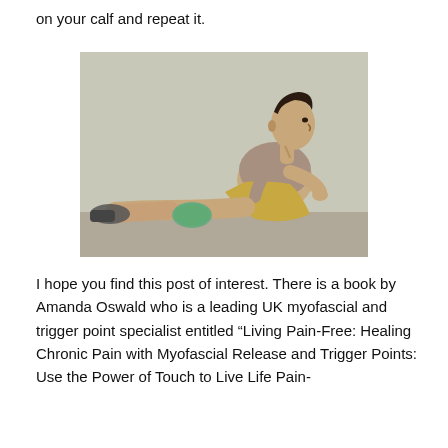on your calf and repeat it.
[Figure (illustration): Illustration of a man sitting on the floor with his legs extended, using a foam roller placed under his calf, viewed from the side. He is wearing a grey t-shirt and khaki shorts.]
I hope you find this post of interest.  There is a book by Amanda Oswald who is a leading UK myofascial and trigger point specialist entitled “Living Pain-Free:  Healing Chronic Pain with Myofascial Release and Trigger Points:  Use the Power of Touch to Live Life Pain-